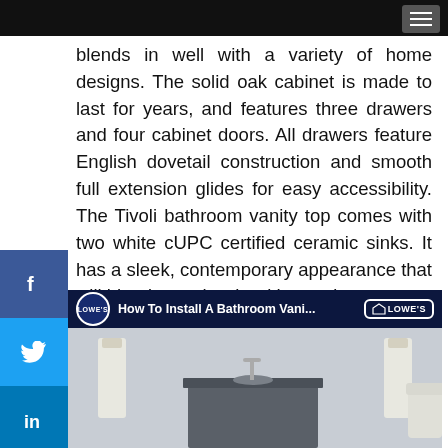blends in well with a variety of home designs. The solid oak cabinet is made to last for years, and features three drawers and four cabinet doors. All drawers feature English dovetail construction and smooth full extension glides for easy accessibility. The Tivoli bathroom vanity top comes with two white cUPC certified ceramic sinks. It has a sleek, contemporary appearance that will blend seamlessly with any decor.
[Figure (screenshot): Lowe's YouTube video thumbnail: 'How To Install A Bathroom Vani...' showing a bathroom vanity with towels, sinks, and a play button overlay.]